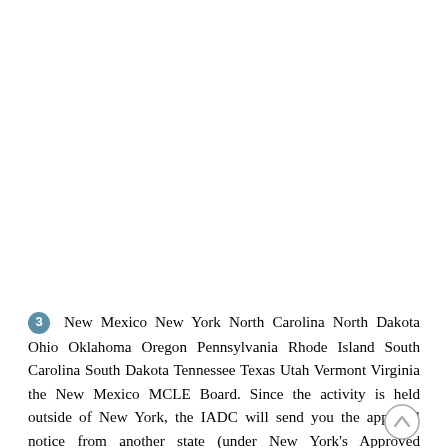3  New Mexico New York North Carolina North Dakota Ohio Oklahoma Oregon Pennsylvania Rhode Island South Carolina South Dakota Tennessee Texas Utah Vermont Virginia the New Mexico MCLE Board. Since the activity is held outside of New York, the IADC will send you the approval notice from another state (under New York's Approved Jurisdiction Policy); keep that document and your